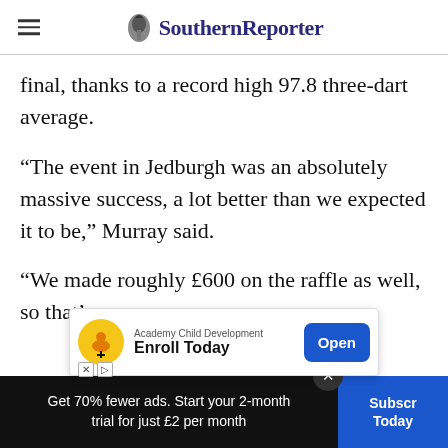Southern Reporter
final, thanks to a record high 97.8 three-dart average.
“The event in Jedburgh was an absolutely massive success, a lot better than we expected it to be,” Murray said.
“We made roughly £600 on the raffle as well, so that’s… n the futu… it’s
[Figure (screenshot): Advertisement overlay: Academy Child Development - Enroll Today, with Open button]
Get 70% fewer ads. Start your 2-month trial for just £2 per month
Subscribe Today